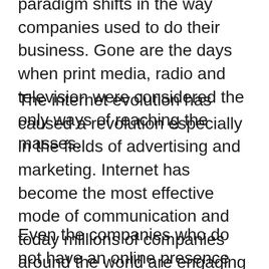paradigm shifts in the way companies used to do their business. Gone are the days when print media, radio and television were considered the only ways of reaching the masses.
The internet evolution has caused a revolution especially in the fields of advertising and marketing. Internet has become the most effective mode of communication and today millions of companies around the world are engaging in online business activities in one way or another.
Even the companies who do not have an online presence rely extensively on online advertising and marketing campaigns in